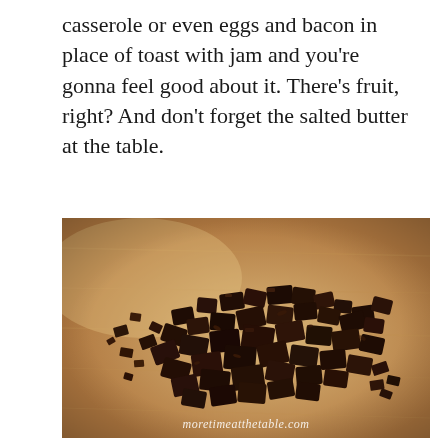casserole or even eggs and bacon in place of toast with jam and you're gonna feel good about it. There's fruit, right? And don't forget the salted butter at the table.
[Figure (photo): Chopped dark chocolate pieces scattered on a wooden cutting board, with watermark text 'moretimeatthetable.com' at the bottom center.]